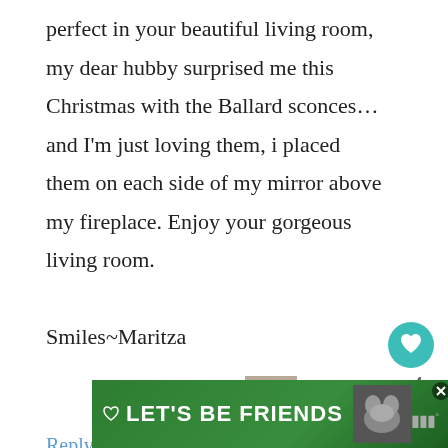perfect in your beautiful living room, my dear hubby surprised me this Christmas with the Ballard sconces…and I'm just loving them, i placed them on each side of my mirror above my fireplace. Enjoy your gorgeous living room.

Smiles~Maritza
Reply
[Figure (screenshot): Advertisement banner with green background reading LET'S BE FRIENDS with a husky dog image]
[Figure (infographic): WHAT'S NEXT arrow label with thumbnail image and text: A French Cane Chair Redo]